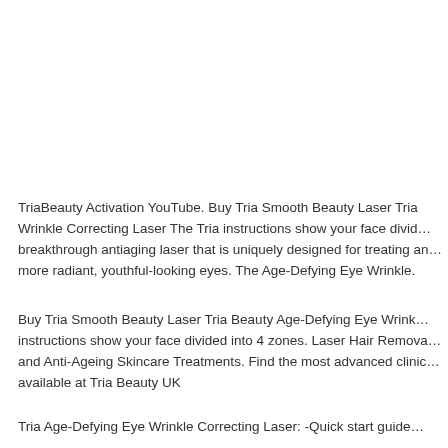TriaBeauty Activation YouTube. Buy Tria Smooth Beauty Laser Tria Wrinkle Correcting Laser The Tria instructions show your face divided breakthrough antiaging laser that is uniquely designed for treating and more radiant, youthful-looking eyes. The Age-Defying Eye Wrinkle.
Buy Tria Smooth Beauty Laser Tria Beauty Age-Defying Eye Wrinkle instructions show your face divided into 4 zones. Laser Hair Removal and Anti-Ageing Skincare Treatments. Find the most advanced clinic available at Tria Beauty UK
Tria Age-Defying Eye Wrinkle Correcting Laser: -Quick start guide